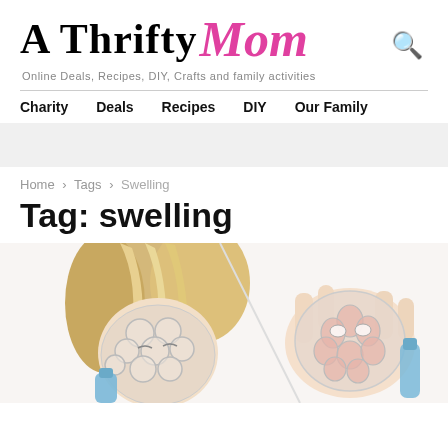A Thrifty Mom
Online Deals, Recipes, DIY, Crafts and family activities
Charity  Deals  Recipes  DIY  Our Family
Home › Tags › Swelling
Tag: swelling
[Figure (photo): Woman wearing a transparent silicone facial mask with petal/bubble pattern, shown wearing it and holding it up side by side on white background]